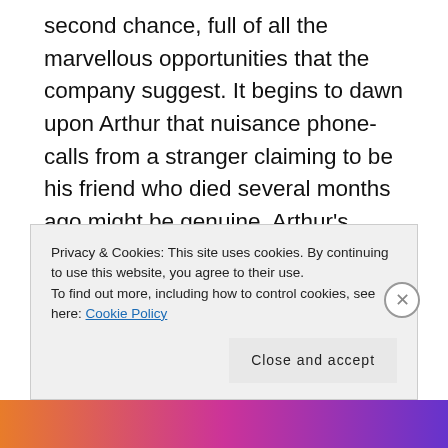second chance, full of all the marvellous opportunities that the company suggest. It begins to dawn upon Arthur that nuisance phone-calls from a stranger claiming to be his friend who died several months ago might be genuine. Arthur's curiosity is ill-met, however, when he is drugged and later shown footage of him sexually assaulting a young woman - blackmailing him to go through with the procedure despite his reservations. So Arthur signs the contract, his
Privacy & Cookies: This site uses cookies. By continuing to use this website, you agree to their use.
To find out more, including how to control cookies, see here: Cookie Policy
Close and accept